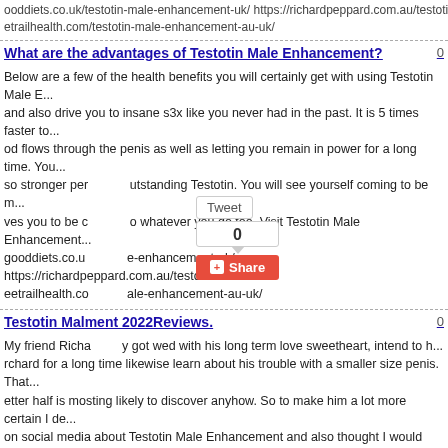ooddiets.co.uk/testotin-male-enhancement-uk/ https://richardpeppard.com.au/testoti... etrailhealth.com/testotin-male-enhancement-au-uk/
What are the advantages of Testotin Male Enhancement?
Below are a few of the health benefits you will certainly get with using Testotin Male E... and also drive you to insane s3x like you never had in the past. It is 5 times faster to... od flows through the penis as well as letting you remain in power for a long time. You... so stronger per... utstanding Testotin. You will see yourself coming to be m... ves you to be c... o whatever you do too. Visit Testotin Male Enhancement... gooddiets.co.u... e-enhancement-uk/ https://richardpeppard.com.au/testot... eetrailhealth.co... ale-enhancement-au-uk/
Testotin Male Enhancement 2022Reviews.
My friend Richa... y got wed with his long term love sweetheart, intend to h... rchard for a long time likewise learn about his trouble with a smaller size penis. That... etter half is mosting likely to discover anyhow. So to make him a lot more certain I de... on social media about Testotin Male Enhancement and also thought I would offer him... g day itself. And on his birthday celebration I offered him as a gift. And afterwards I fu... s face was smile and smile afterwards. Visit Testotin Male Enhancement Official web... o.uk/testotin-male-enhancement-uk/ https://richardpeppard.com.au/testotin-male-enh... h.com/testotin-male-enhancement-au-uk/
What Is Testotin Male Enhancement Australia?
Benefits during use Testotin you get: About the away from probability that you should... blend the lift up it needs, there are genuinely a few things that you should consider you... ld know unequivocally what the difficulties are which are confronting your close by blo... people is their extent of testosterone. The produced works with manly sexual prospe... e lively, your body produces monstrous huge piles of it. The more master you get, the... ould completely influence your own way of life. On the second that that happens...